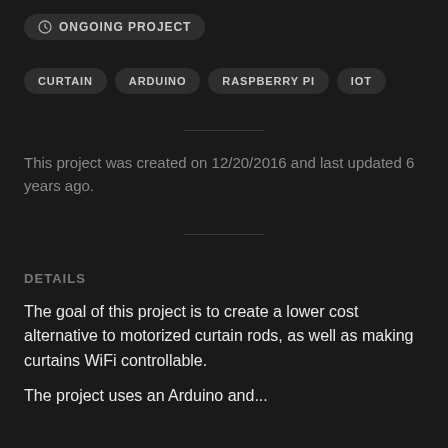ONGOING PROJECT
CURTAIN
ARDUINO
RASPBERRY PI
IOT
This project was created on 12/20/2016 and last updated 6 years ago.
DETAILS
The goal of this project is to create a lower cost alternative to motorized curtain rods, as well as making curtains WiFi controllable.